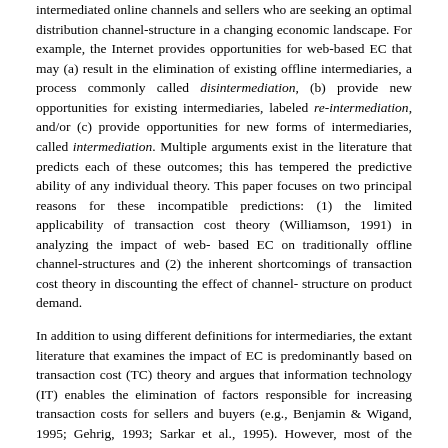intermediated online channels and sellers who are seeking an optimal distribution channel-structure in a changing economic landscape. For example, the Internet provides opportunities for web-based EC that may (a) result in the elimination of existing offline intermediaries, a process commonly called disintermediation, (b) provide new opportunities for existing intermediaries, labeled re-intermediation, and/or (c) provide opportunities for new forms of intermediaries, called intermediation. Multiple arguments exist in the literature that predicts each of these outcomes; this has tempered the predictive ability of any individual theory. This paper focuses on two principal reasons for these incompatible predictions: (1) the limited applicability of transaction cost theory (Williamson, 1991) in analyzing the impact of web-based EC on traditionally offline channel-structures and (2) the inherent shortcomings of transaction cost theory in discounting the effect of channel-structure on product demand.
In addition to using different definitions for intermediaries, the extant literature that examines the impact of EC is predominantly based on transaction cost (TC) theory and argues that information technology (IT) enables the elimination of factors responsible for increasing transaction costs for sellers and buyers (e.g., Benjamin & Wigand, 1995; Gehrig, 1993; Sarkar et al., 1995). However, most of the analysis presented in these studies apply TC theory from the seller's perspective and are predominantly focused on the reduction of transaction costs through reduced search costs. Other factors, such as maintaining long-term supplier loyalty, that may contribute towards increasing transaction costs are generally ignored. The scope of transaction costs to the buyer also needs to be extended to encompass more than just search costs to make the analysis more comprehensive. Therefore, we posit